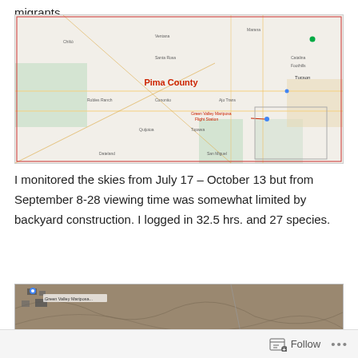migrants.
[Figure (map): Google Maps view of Pima County, Arizona showing the region around Tucson with labeled locations including Pima County text in red, and a marker labeled 'Green Valley Mariposa Flight Station']
I monitored the skies from July 17 – October 13 but from September 8-28 viewing time was somewhat limited by backyard construction. I logged in 32.5 hrs. and 27 species.
[Figure (map): Satellite aerial view of a desert location showing roads, terrain, and structures]
Follow ...